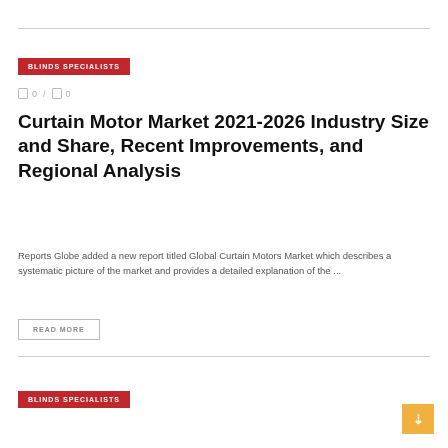BLINDS SPECIALISTS
0 / 0
Curtain Motor Market 2021-2026 Industry Size and Share, Recent Improvements, and Regional Analysis
Reports Globe added a new report titled Global Curtain Motors Market which describes a systematic picture of the market and provides a detailed explanation of the ...
READ MORE
BLINDS SPECIALISTS